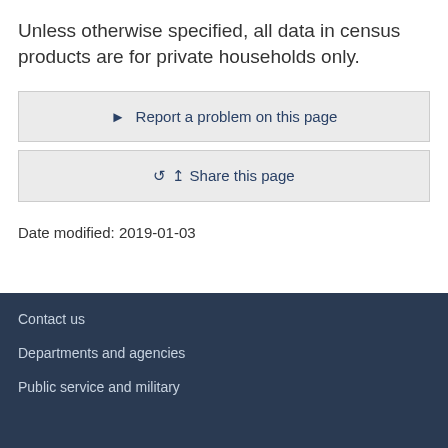Unless otherwise specified, all data in census products are for private households only.
▶  Report a problem on this page
Share this page
Date modified: 2019-01-03
Contact us
Departments and agencies
Public service and military